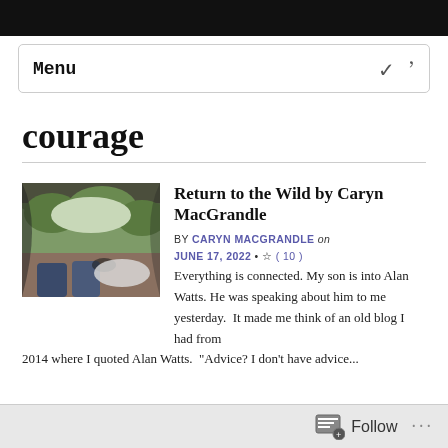Menu
courage
[Figure (photo): A view from inside a tent looking out at trees and sky, with a person's legs visible in the foreground]
Return to the Wild by Caryn MacGrandle
BY CARYN MACGRANDLE on JUNE 17, 2022 • ( 10 )
Everything is connected. My son is into Alan Watts. He was speaking about him to me yesterday.  It made me think of an old blog I had from 2014 where I quoted Alan Watts.  "Advice? I don't have advice...
Follow